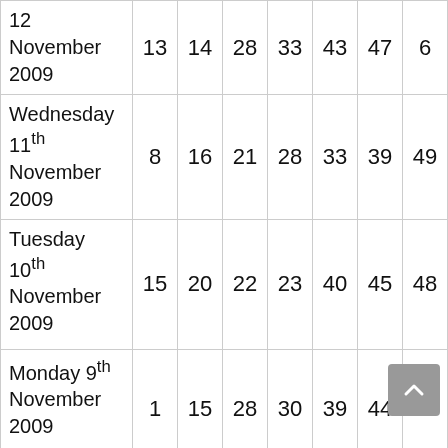| Date | Col1 | Col2 | Col3 | Col4 | Col5 | Col6 | Col7 |
| --- | --- | --- | --- | --- | --- | --- | --- |
| 12 November 2009 | 13 | 14 | 28 | 33 | 43 | 47 | 6 |
| Wednesday 11th November 2009 | 8 | 16 | 21 | 28 | 33 | 39 | 49 |
| Tuesday 10th November 2009 | 15 | 20 | 22 | 23 | 40 | 45 | 48 |
| Monday 9th November 2009 | 1 | 15 | 28 | 30 | 39 | 44 | 36 |
| Sunday 8th November | 4 | 5 | 10 | 15 | 45 | 47 | 28 |